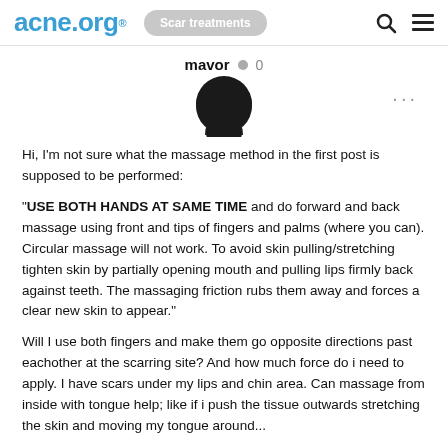acne.org® | Scar treatments
mavor  0
[Figure (illustration): User avatar icon — circular dark silhouette of a person's head and shoulders on white background]
Hi, I'm not sure what the massage method in the first post is supposed to be performed:

"USE BOTH HANDS AT SAME TIME and do forward and back massage using front and tips of fingers and palms (where you can). Circular massage will not work. To avoid skin pulling/stretching tighten skin by partially opening mouth and pulling lips firmly back against teeth. The massaging friction rubs them away and forces a clear new skin to appear."

Will I use both fingers and make them go opposite directions past eachother at the scarring site? And how much force do i need to apply. I have scars under my lips and chin area. Can massage from inside with tongue help; like if i push the tissue outwards stretching the skin and moving my tongue around...